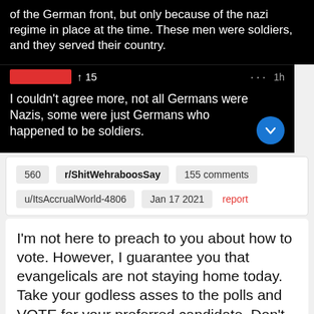of the German front, but only because of the nazi regime in place at the time. These men were soldiers, and they served their country.
↑ 15   ···  1h
I couldn't agree more, not all Germans were Nazis, some were just Germans who happened to be soldiers.
560   r/ShitWehraboosSay   155 comments   u/ItsAccrualWorld-4806   Jan 17 2021   report
I'm not here to preach to you about how to vote. However, I guarantee you that evangelicals are not staying home today. Take your godless asses to the polls and VOTE for your preferred candidate. Don't let the fundies pick the president for us.